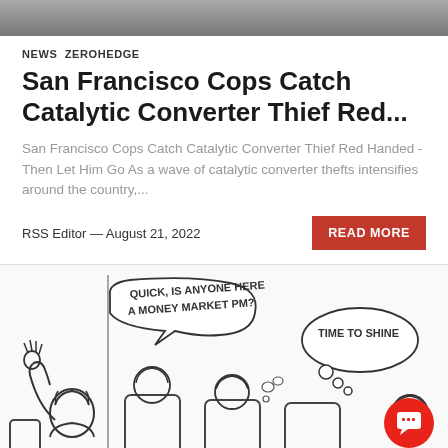[Figure (photo): Partial banner image at top of page, showing dark/grey tones]
NEWS  ZEROHEDGE
San Francisco Cops Catch Catalytic Converter Thief Red...
San Francisco Cops Catch Catalytic Converter Thief Red Handed - Then Let Him Go As a wave of catalytic converter thefts intensifies around the country,...
RSS Editor — August 21, 2022
[Figure (illustration): Cartoon illustration of airplane passengers. A person with raised hand asks 'Quick, is anyone here a money market PM?' and a thought bubble from another passenger reads 'Time to Shine']